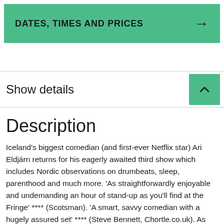DATES, TIMES AND PRICES →
Show details
Description
Iceland's biggest comedian (and first-ever Netflix star) Ari Eldjárn returns for his eagerly awaited third show which includes Nordic observations on drumbeats, sleep, parenthood and much more. 'As straightforwardly enjoyable and undemanding an hour of stand-up as you'll find at the Fringe' **** (Scotsman). 'A smart, savvy comedian with a hugely assured set' **** (Steve Bennett, Chortle.co.uk). As seen on Pardon My Icelandic (Netflix), Mock the Week (BBC Two), and heard on BBC Radio 4: Scotland Vs The World, The Today Programme, Welcome To Wherever You Are, and The Arts Hour on Tour (World Service).